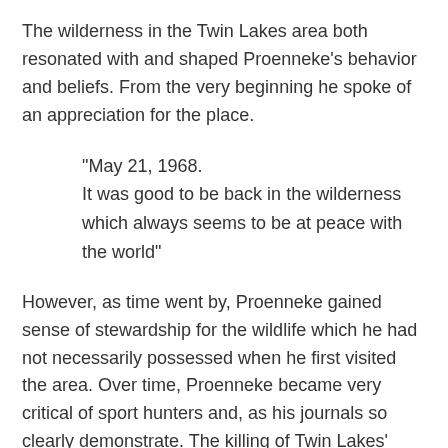The wilderness in the Twin Lakes area both resonated with and shaped Proenneke's behavior and beliefs. From the very beginning he spoke of an appreciation for the place.
"May 21, 1968.
It was good to be back in the wilderness which always seems to be at peace with the world"
However, as time went by, Proenneke gained sense of stewardship for the wildlife which he had not necessarily possessed when he first visited the area. Over time, Proenneke became very critical of sport hunters and, as his journals so clearly demonstrate. The killing of Twin Lakes' wildlife became anathema to him.